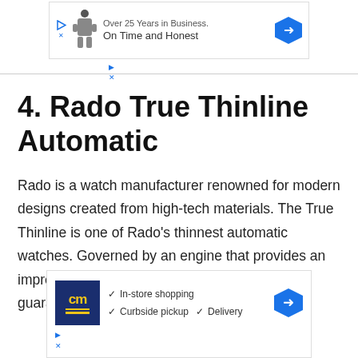[Figure (screenshot): Advertisement banner: Over 25 Years in Business. On Time and Honest. With person icon and arrow button.]
4. Rado True Thinline Automatic
Rado is a watch manufacturer renowned for modern designs created from high-tech materials. The True Thinline is one of Rado's thinnest automatic watches. Governed by an engine that provides an impressive 42-hour power reserve, you're guaranteed to look sleek and stylish with
[Figure (screenshot): Advertisement banner: CM logo with checkmarks for In-store shopping, Curbside pickup, Delivery. Blue arrow navigation button.]